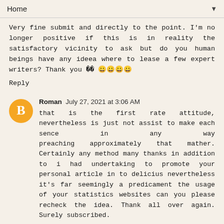Home
Very fine submit and directly to the point. I'm no longer positive if this is in reality the satisfactory vicinity to ask but do you human beings have any ideea where to lease a few expert writers? Thank you �� 😀😀😀😀
Reply
Roman  July 27, 2021 at 3:06 AM
that is the first rate attitude, nevertheless is just not assist to make each sence in any way preaching approximately that mather. Certainly any method many thanks in addition to i had undertaking to promote your personal article in to delicius nevertheless it's far seemingly a predicament the usage of your statistics websites can you please recheck the idea. Thank all over again. Surely subscribed.